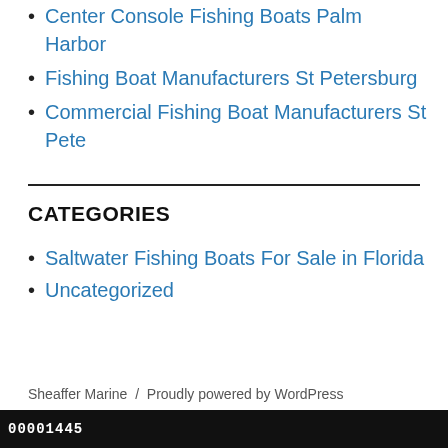Center Console Fishing Boats Palm Harbor
Fishing Boat Manufacturers St Petersburg
Commercial Fishing Boat Manufacturers St Pete
CATEGORIES
Saltwater Fishing Boats For Sale in Florida
Uncategorized
Sheaffer Marine  /  Proudly powered by WordPress
00001445